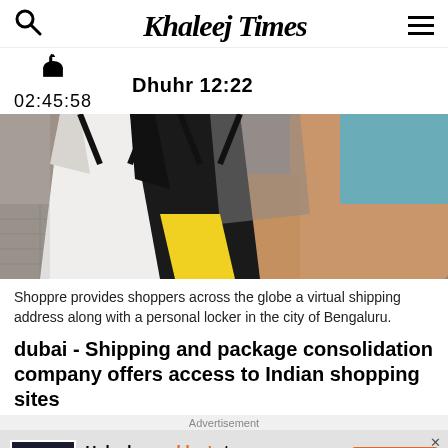Khaleej Times
Dhuhr 12:22
02:45:58
[Figure (photo): Close-up of shopping bags being carried by a person, showing colorful paper bags with yellow and black handles against a pavement background with a blue garment visible.]
Shoppre provides shoppers across the globe a virtual shipping address along with a personal locker in the city of Bengaluru.
dubai - Shipping and package consolidation company offers access to Indian shopping sites
Advertisement
Unlock your blog's true revenue potential